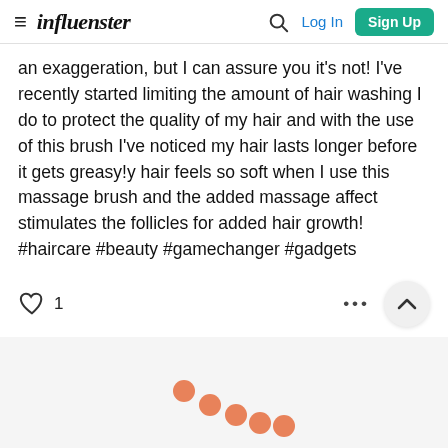influenster — Log In | Sign Up
an exaggeration, but I can assure you it's not! I've recently started limiting the amount of hair washing I do to protect the quality of my hair and with the use of this brush I've noticed my hair lasts longer before it gets greasy!y hair feels so soft when I use this massage brush and the added massage affect stimulates the follicles for added hair growth! #haircare #beauty #gamechanger #gadgets
[Figure (infographic): Loading spinner made of 5 orange dots arranged in a diagonal arc pattern]
[Figure (illustration): Heart/like icon with count 1, and three-dot ellipsis menu and scroll-up arrow button]